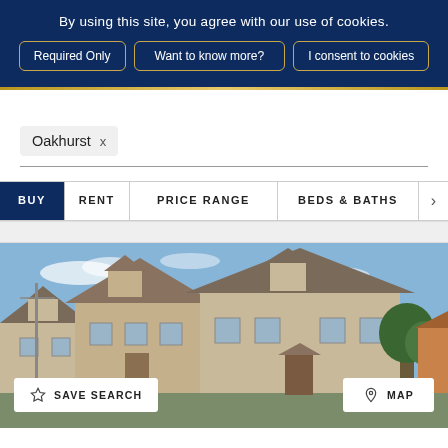By using this site, you agree with our use of cookies.
Required Only
Want to know more?
I consent to cookies
Oakhurst ×
BUY  RENT  PRICE RANGE  BEDS & BATHS  >
[Figure (photo): Exterior photo of residential houses with beige/tan siding under a blue sky]
SAVE SEARCH
MAP